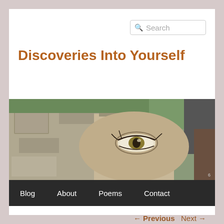Search
Discoveries Into Yourself
[Figure (photo): Photograph of a stone wall or rock with a painted eye on it, with trees visible in the background, serving as the hero/banner image for the blog.]
Blog   About   Poems   Contact
← Previous   Next →
What I've learned from